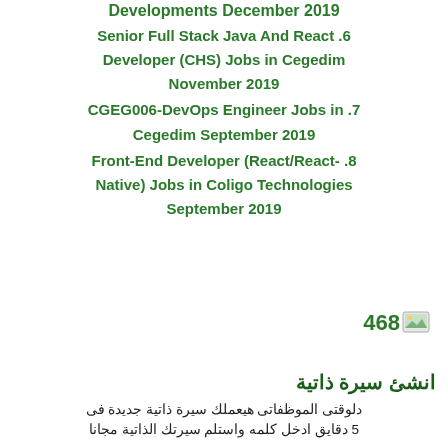Developments December 2019
6. Senior Full Stack Java And React Developer (CHS) Jobs in Cegedim November 2019
7. CGEG006-DevOps Engineer Jobs in Cegedim September 2019
8. Front-End Developer (React/React-Native) Jobs in Coligo Technologies September 2019
[Figure (illustration): Small image icon with number 468]
انشئ سيرة ذاتية
دلوقتى الموظفاتى هيعملك سيرة ذاتية جديدة فى 5 دقايق ادخل كلمه واستلم سيرتك الذاتية مجانا